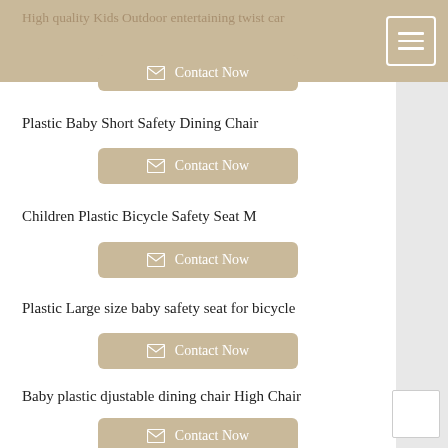High quality Kids Outdoor entertaining twist car
Contact Now
Plastic Baby Short Safety Dining Chair
Contact Now
Children Plastic Bicycle Safety Seat M
Contact Now
Plastic Large size baby safety seat for bicycle
Contact Now
Baby plastic djustable dining chair High Chair
Contact Now